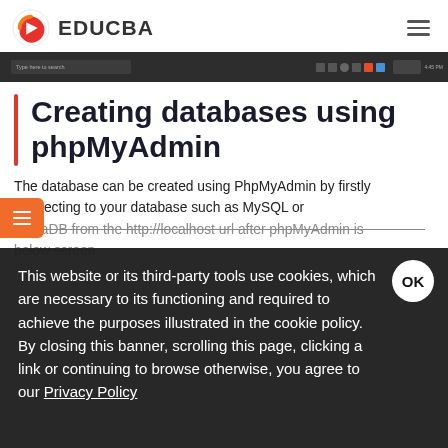EDUCBA
[Figure (screenshot): Browser taskbar/address bar strip screenshot in dark theme]
Creating databases using phpMyAdmin
The database can be created using PhpMyAdmin by firstly connecting to your database such as MySQL or MariaDB from the http://localhost url after phpMyAdmin is ... below screen
This website or its third-party tools use cookies, which are necessary to its functioning and required to achieve the purposes illustrated in the cookie policy. By closing this banner, scrolling this page, clicking a link or continuing to browse otherwise, you agree to our Privacy Policy